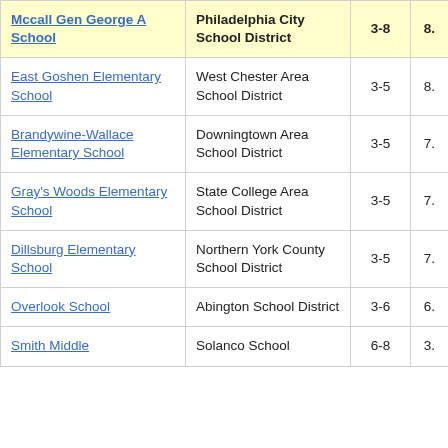| School Name | District | Grades | Score |
| --- | --- | --- | --- |
| Mccall Gen George A School | Philadelphia City School District | 3-8 | 8. |
| East Goshen Elementary School | West Chester Area School District | 3-5 | 8. |
| Brandywine-Wallace Elementary School | Downingtown Area School District | 3-5 | 7. |
| Gray's Woods Elementary School | State College Area School District | 3-5 | 7. |
| Dillsburg Elementary School | Northern York County School District | 3-5 | 7. |
| Overlook School | Abington School District | 3-6 | 6. |
| Smith Middle | Solanco School | 6-8 | 3. |